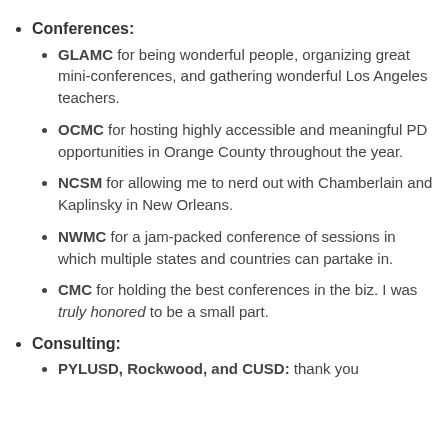Conferences:
GLAMC for being wonderful people, organizing great mini-conferences, and gathering wonderful Los Angeles teachers.
OCMC for hosting highly accessible and meaningful PD opportunities in Orange County throughout the year.
NCSM for allowing me to nerd out with Chamberlain and Kaplinsky in New Orleans.
NWMC for a jam-packed conference of sessions in which multiple states and countries can partake in.
CMC for holding the best conferences in the biz. I was truly honored to be a small part.
Consulting:
PYLUSD, Rockwood, and CUSD: thank you